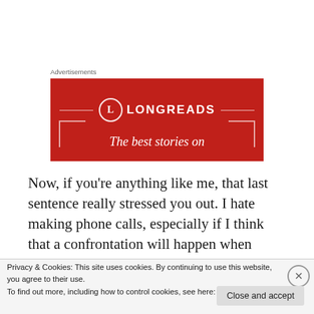Advertisements
[Figure (logo): Longreads advertisement banner. Red background with Longreads logo (circle with L) and horizontal lines on each side, with italic text 'The best stories on...' partially visible at the bottom.]
Now, if you're anything like me, that last sentence really stressed you out. I hate making phone calls, especially if I think that a confrontation will happen when somebody picks up. My threshold for what I consider
Privacy & Cookies: This site uses cookies. By continuing to use this website, you agree to their use.
To find out more, including how to control cookies, see here: Cookie Policy
Close and accept